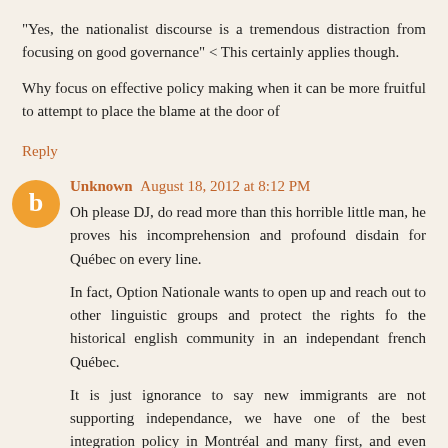"Yes, the nationalist discourse is a tremendous distraction from focusing on good governance" < This certainly applies though.
Why focus on effective policy making when it can be more fruitful to attempt to place the blame at the door of
Reply
Unknown  August 18, 2012 at 8:12 PM
Oh please DJ, do read more than this horrible little man, he proves his incomprehension and profound disdain for Québec on every line.
In fact, Option Nationale wants to open up and reach out to other linguistic groups and protect the rights fo the historical english community in an independant french Québec.
It is just ignorance to say new immigrants are not supporting independance, we have one of the best integration policy in Montréal and many first, and even more second, generation immigrants support independance, especially amongst the latin